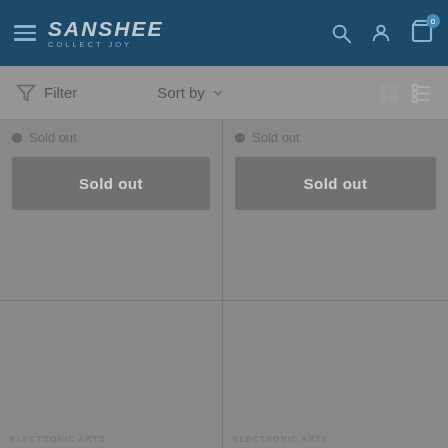Sanshee - Collect Joy - Navigation bar with filter/sort controls
Sold out
Sold out
Sold out
Sold out
ELECTRONIC ARTS
ELECTRONIC ARTS